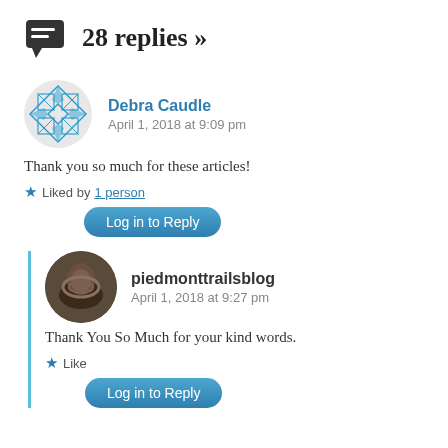28 replies »
Debra Caudle
April 1, 2018 at 9:09 pm
Thank you so much for these articles!
★ Liked by 1 person
Log in to Reply
piedmonttrailsblog
April 1, 2018 at 9:27 pm
Thank You So Much for your kind words.
★ Like
Log in to Reply